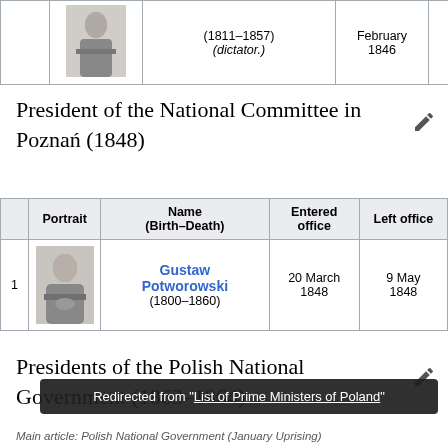|  | Portrait | Name (Birth–Death) | Entered office | Left office |
| --- | --- | --- | --- | --- |
|  | [portrait] | (1811–1857)
(dictator.) | February 1846 | 1846 |
President of the National Committee in Poznań (1848)
| Portrait | Name (Birth–Death) | Entered office | Left office |
| --- | --- | --- | --- |
| 1 | [portrait] | Gustaw Potworowski
(1800–1860) | 20 March 1848 | 9 May 1848 |
Presidents of the Polish National Government (1863–1864)
Redirected from "List of Prime Ministers of Poland"
Main article: Polish National Government (January Uprising)